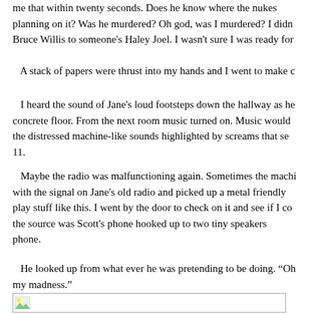me that within twenty seconds. Does he know where the nukes planning on it? Was he murdered? Oh god, was I murdered? I didn Bruce Willis to someone's Haley Joel. I wasn't sure I was ready for
A stack of papers were thrust into my hands and I went to make c
I heard the sound of Jane's loud footsteps down the hallway as he concrete floor. From the next room music turned on. Music would the distressed machine-like sounds highlighted by screams that se 11.
Maybe the radio was malfunctioning again. Sometimes the machi with the signal on Jane's old radio and picked up a metal friendly play stuff like this. I went by the door to check on it and see if I co the source was Scott's phone hooked up to two tiny speakers phone.
He looked up from what ever he was pretending to be doing. “Oh my madness.”
[Figure (photo): Small image placeholder icon in the bottom left corner, within a rectangular border]